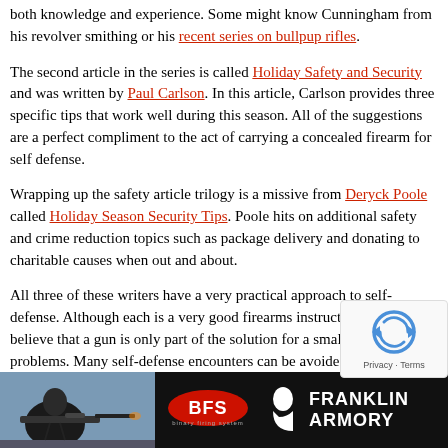both knowledge and experience. Some might know Cunningham from his revolver smithing or his recent series on bullpup rifles.
The second article in the series is called Holiday Safety and Security and was written by Paul Carlson. In this article, Carlson provides three specific tips that work well during this season. All of the suggestions are a perfect compliment to the act of carrying a concealed firearm for self defense.
Wrapping up the safety article trilogy is a missive from Deryck Poole called Holiday Season Security Tips. Poole hits on additional safety and crime reduction topics such as package delivery and donating to charitable causes when out and about.
All three of these writers have a very practical approach to self-defense. Although each is a very good firearms instructor, all of them believe that a gun is only part of the solution for a small set of problems. Many self-defense encounters can be avoided with proper planning, and avoiding a fight is the only way to guarantee you will win.
[Figure (photo): Advertisement banner for Franklin Armory featuring a person shooting a rifle, BFS logo, and Franklin Armory branding on a dark background.]